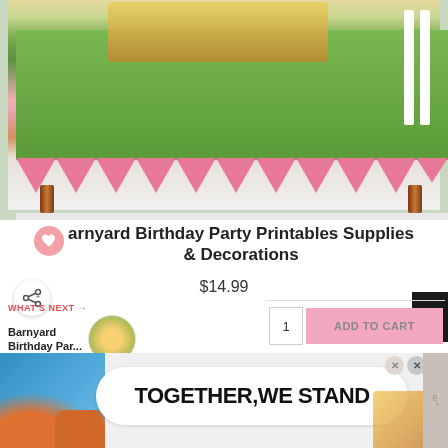[Figure (photo): Barnyard birthday party dessert table decorated with pink paper fans, hay bales, miniature barn decorations, yellow chick cake pops, cupcakes, and various party treats on a grass-covered table with pink skirting.]
Barnyard Birthday Party Printables Supplies & Decorations
$14.99
WHAT'S NEXT → Barnyard Birthday Par...
1
ADD TO CART
[Figure (advertisement): Advertisement banner with colorful blobs, a white speech bubble, and bold text reading 'TOGETHER, WE STAND' with close buttons.]